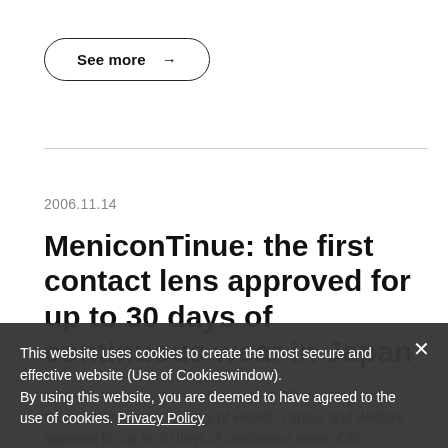[Figure (other): See more button with arrow icon, rounded pill border]
2006.11.14
MeniconTinue: the first contact lens approved for up to 30 days of continuous wear in Japan
Menicon Co., Ltd., the world's largest GP manufacturer, received Japanese Ministry of Health, Labour and Welfare approval for up to 30 days of continuous wear of its Menicon Z, or 30 continuous wear...
This website uses cookies to create the most secure and effective website (Use of Cookieswindow). By using this website, you are deemed to have agreed to the use of cookies. Privacy Policy